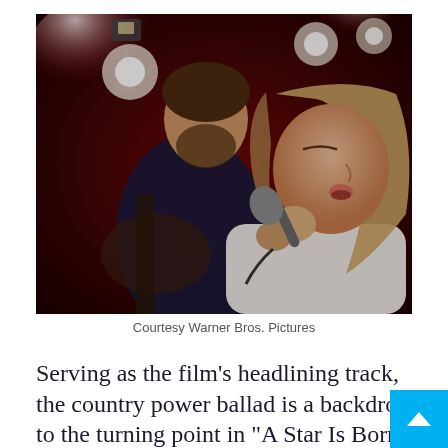[Figure (photo): Two people on a concert stage. A woman with long brown hair holds a microphone and sings with eyes closed, wearing a white t-shirt. A bearded man plays guitar in the background. Stage lights glow in the background with red and white hues.]
Courtesy Warner Bros. Pictures
Serving as the film’s headlining track, the country power ballad is a backdrop to the turning point in “A Star Is Born” — the point in which Ally, and her amazing voice, is introduced to the world. After dropping everything to